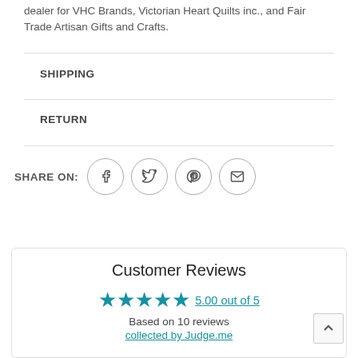dealer for VHC Brands, Victorian Heart Quilts inc., and Fair Trade Artisan Gifts and Crafts.
SHIPPING
RETURN
SHARE ON:
[Figure (other): Social share icons: Facebook, Twitter, Pinterest, Email — each inside a circle outline]
Customer Reviews
5.00 out of 5
Based on 10 reviews
collected by Judge.me